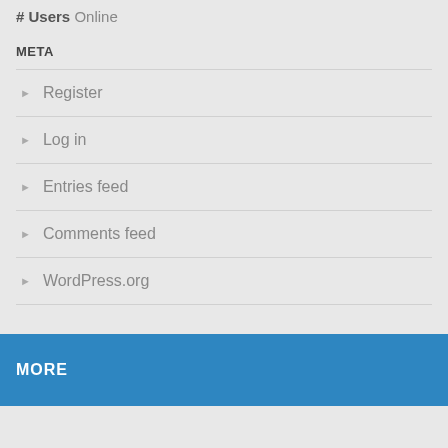# Users Online
META
Register
Log in
Entries feed
Comments feed
WordPress.org
MORE